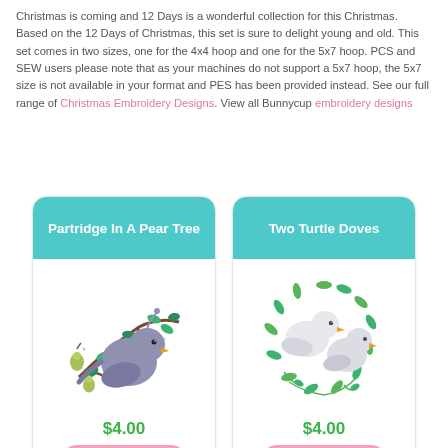Christmas is coming and 12 Days is a wonderful collection for this Christmas. Based on the 12 Days of Christmas, this set is sure to delight young and old. This set comes in two sizes, one for the 4x4 hoop and one for the 5x7 hoop. PCS and SEW users please note that as your machines do not support a 5x7 hoop, the 5x7 size is not available in your format and PES has been provided instead. See our full range of Christmas Embroidery Designs. View all Bunnycup embroidery designs
[Figure (illustration): Product card: Partridge In A Pear Tree embroidery design showing a bird on a branch with pears, price $4.00, Add to Cart button]
[Figure (illustration): Product card: Two Turtle Doves embroidery design showing two white doves with leaves, price $4.00, Add to Cart button]